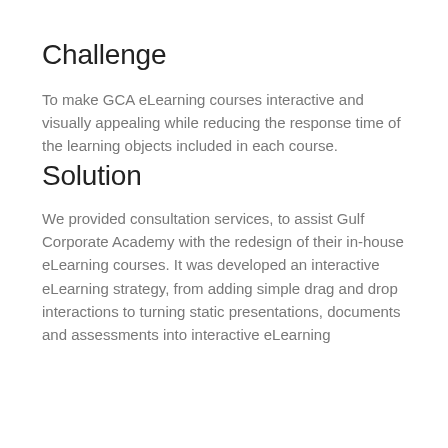Challenge
To make GCA eLearning courses interactive and visually appealing while reducing the response time of the learning objects included in each course.
Solution
We provided consultation services, to assist Gulf Corporate Academy with the redesign of their in-house eLearning courses. It was developed an interactive eLearning strategy, from adding simple drag and drop interactions to turning static presentations, documents and assessments into interactive eLearning